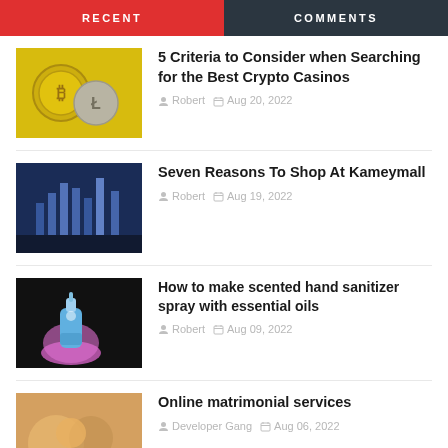RECENT
COMMENTS
5 Criteria to Consider when Searching for the Best Crypto Casinos | Robert | Aug 20, 2022
Seven Reasons To Shop At Kameymall | Robert | Aug 19, 2022
How to make scented hand sanitizer spray with essential oils | Robert | Aug 09, 2022
Online matrimonial services | Developer Gang | Aug 06, 2022
Your Mental Health and 5 Stranger Things to Improve It